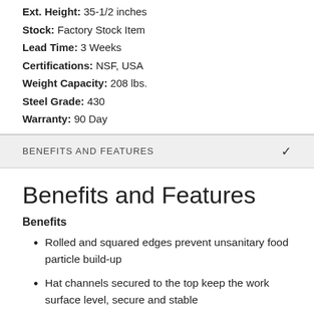Ext. Height: 35-1/2 inches
Stock: Factory Stock Item
Lead Time: 3 Weeks
Certifications: NSF, USA
Weight Capacity: 208 lbs.
Steel Grade: 430
Warranty: 90 Day
BENEFITS AND FEATURES
Benefits and Features
Benefits
Rolled and squared edges prevent unsanitary food particle build-up
Hat channels secured to the top keep the work surface level, secure and stable